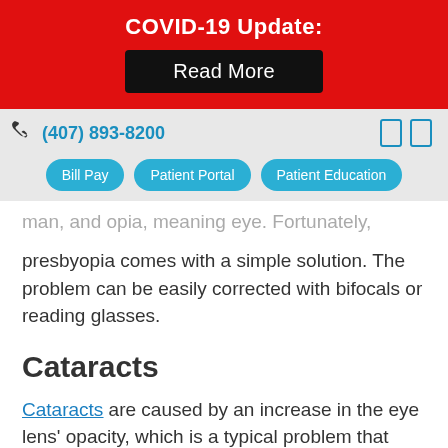COVID-19 Update:
Read More
(407) 893-8200
Bill Pay  Patient Portal  Patient Education
man, and opia, meaning eye. Fortunately, presbyopia comes with a simple solution. The problem can be easily corrected with bifocals or reading glasses.
Cataracts
Cataracts are caused by an increase in the eye lens' opacity, which is a typical problem that occurs with age. As the eye lens clouds up, it